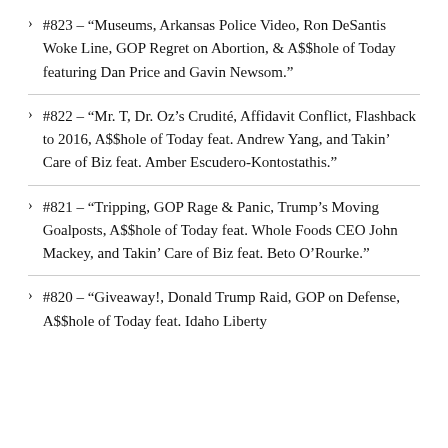#823 – “Museums, Arkansas Police Video, Ron DeSantis Woke Line, GOP Regret on Abortion, & A$$hole of Today featuring Dan Price and Gavin Newsom.”
#822 – “Mr. T, Dr. Oz’s Crudité, Affidavit Conflict, Flashback to 2016, A$$hole of Today feat. Andrew Yang, and Takin’ Care of Biz feat. Amber Escudero-Kontostathis.”
#821 – “Tripping, GOP Rage & Panic, Trump’s Moving Goalposts, A$$hole of Today feat. Whole Foods CEO John Mackey, and Takin’ Care of Biz feat. Beto O’Rourke.”
#820 – “Giveaway!, Donald Trump Raid, GOP on Defense, A$$hole of Today feat. Idaho Liberty